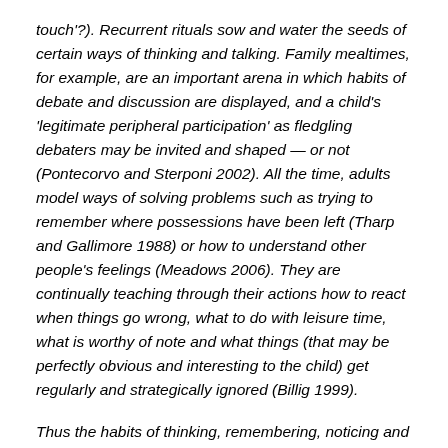touch'?). Recurrent rituals sow and water the seeds of certain ways of thinking and talking. Family mealtimes, for example, are an important arena in which habits of debate and discussion are displayed, and a child's 'legitimate peripheral participation' as fledgling debaters may be invited and shaped — or not (Pontecorvo and Sterponi 2002). All the time, adults model ways of solving problems such as trying to remember where possessions have been left (Tharp and Gallimore 1988) or how to understand other people's feelings (Meadows 2006). They are continually teaching through their actions how to react when things go wrong, what to do with leisure time, what is worthy of note and what things (that may be perfectly obvious and interesting to the child) get regularly and strategically ignored (Billig 1999).
Thus the habits of thinking, remembering, noticing and